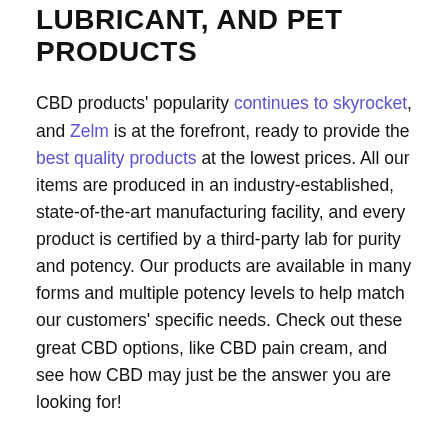LUBRICANT, AND PET PRODUCTS
CBD products' popularity continues to skyrocket, and Zelm is at the forefront, ready to provide the best quality products at the lowest prices. All our items are produced in an industry-established, state-of-the-art manufacturing facility, and every product is certified by a third-party lab for purity and potency. Our products are available in many forms and multiple potency levels to help match our customers' specific needs. Check out these great CBD options, like CBD pain cream, and see how CBD may just be the answer you are looking for!
OIL DROPS
CBD oil drops are one of the most popular methods of